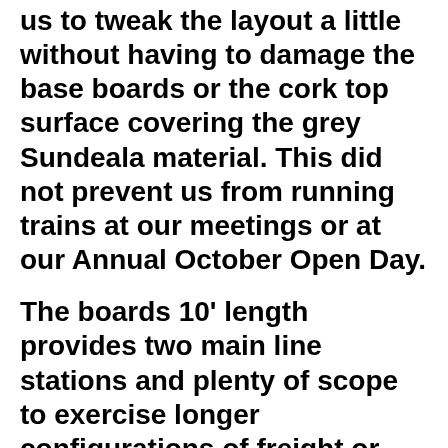us to tweak the layout a little without having to damage the base boards or the cork top surface covering the grey Sundeala material. This did not prevent us from running trains at our meetings or at our Annual October Open Day.
The boards 10' length provides two main line stations and plenty of scope to exercise longer configurations of freight or passenger coaches. I have seen 9 Mk2 BR Blue and Grey Coaches (some borrowed) pulled by a single Lima Class 37 Diesel Locomotive. This board along with the more recent 8' x 4' “industrial” board have very